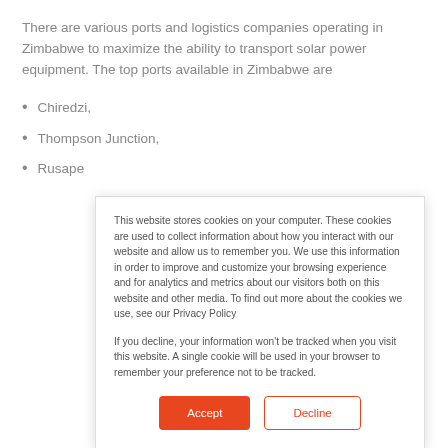There are various ports and logistics companies operating in Zimbabwe to maximize the ability to transport solar power equipment. The top ports available in Zimbabwe are
Chiredzi,
Thompson Junction,
Rusape
This website stores cookies on your computer. These cookies are used to collect information about how you interact with our website and allow us to remember you. We use this information in order to improve and customize your browsing experience and for analytics and metrics about our visitors both on this website and other media. To find out more about the cookies we use, see our Privacy Policy
If you decline, your information won't be tracked when you visit this website. A single cookie will be used in your browser to remember your preference not to be tracked.